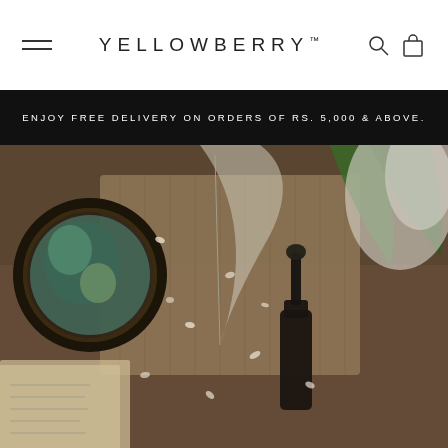YELLOWBERRY™
ENJOY FREE DELIVERY ON ORDERS OF RS. 5,000 & ABOVE.
[Figure (photo): Flat lay product photo showing a dark glass dropper bottle, an ornate vintage mirror, scattered flower petals, a feather, a green leaf, and a woven textile swatch on a wooden surface, styled with a muted moody aesthetic.]